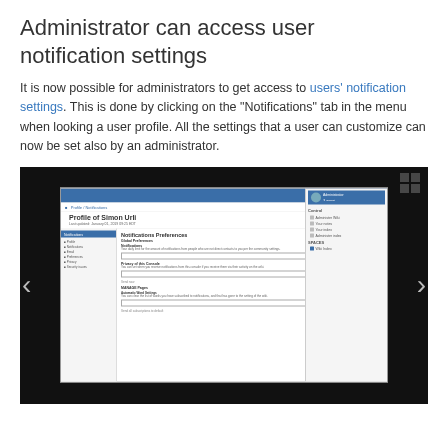Administrator can access user notification settings
It is now possible for administrators to get access to users' notification settings. This is done by clicking on the "Notifications" tab in the menu when looking a user profile. All the settings that a user can customize can now be set also by an administrator.
[Figure (screenshot): Screenshot of a user profile page showing 'Profile of Simon Urli' with Notifications Preferences panel open, displayed within a dark background with left/right navigation arrows.]